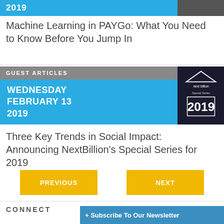2019
Machine Learning in PAYGo: What You Need to Know Before You Jump In
GUEST ARTICLES
WEDNESDAY FEBRUARY 13 2019
[Figure (logo): next billion Special Series 2019 logo with triangle icon]
Three Key Trends in Social Impact: Announcing NextBillion’s Special Series for 2019
PREVIOUS
NEXT
CONNECT WITH US
+ Subscribe To Our Newsletter